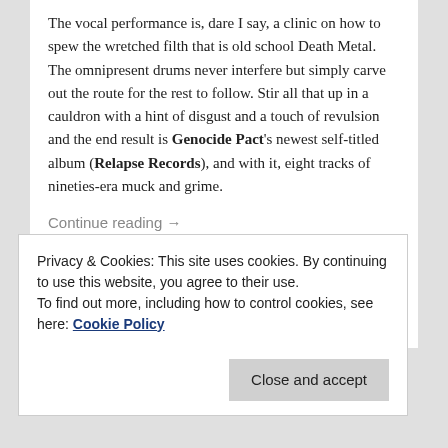The vocal performance is, dare I say, a clinic on how to spew the wretched filth that is old school Death Metal. The omnipresent drums never interfere but simply carve out the route for the rest to follow. Stir all that up in a cauldron with a hint of disgust and a touch of revulsion and the end result is Genocide Pact's newest self-titled album (Relapse Records), and with it, eight tracks of nineties-era muck and grime.
Continue reading →
[Figure (other): Social media share icons: Facebook (dark blue), Twitter (light blue), Reddit (orange-red), Share (orange)]
Posted in Reviews | Tagged Album, album reviews
Privacy & Cookies: This site uses cookies. By continuing to use this website, you agree to their use.
To find out more, including how to control cookies, see here: Cookie Policy
Close and accept